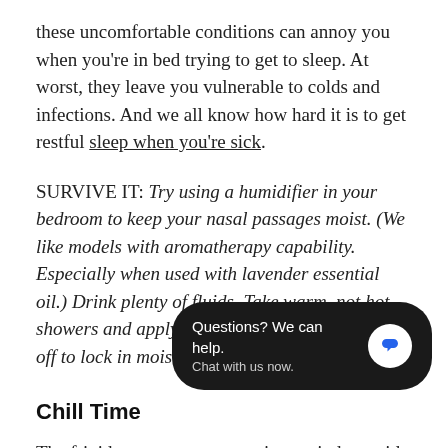these uncomfortable conditions can annoy you when you're in bed trying to get to sleep. At worst, they leave you vulnerable to colds and infections. And we all know how hard it is to get restful sleep when you're sick.
SURVIVE IT: Try using a humidifier in your bedroom to keep your nasal passages moist. (We like models with aromatherapy capability. Especially when used with lavender essential oil.) Drink plenty of fluids. Take warm, not hot, showers and apply lotion right after you towel off to lock in moisture for your skin.
Chill Time
The frigid temperatures and icy winter winds outside drive us inside, where we immediately kick